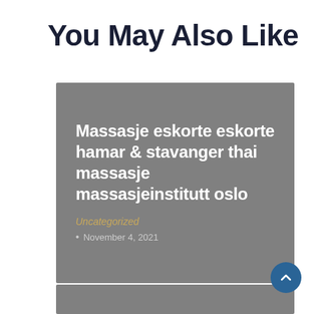You May Also Like
[Figure (other): Card with gray background containing article title, category, and date. Title: 'Massasje eskorte eskorte hamar & stavanger thai massasje massasjeinstitutt oslo', Category: 'Uncategorized', Date: 'November 4, 2021']
[Figure (other): Partial gray card visible at bottom of page]